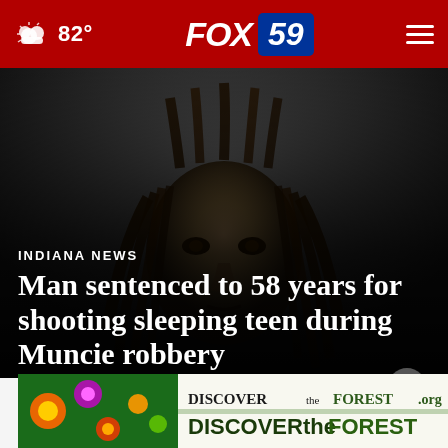FOX 59 | 82°
[Figure (photo): Mugshot photo of a man with dreadlocks against a dark background]
INDIANA NEWS
Man sentenced to 58 years for shooting sleeping teen during Muncie robbery
by: Izzy Karpinski
Posted
Updated
[Figure (other): DISCOVERtheFOREST.org advertisement banner with Ad Council and US Forest Service logos]